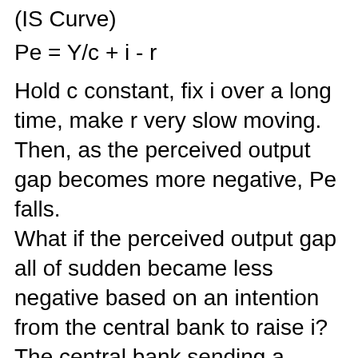(IS Curve)
Hold c constant, fix i over a long time, make r very slow moving.
Then, as the perceived output gap becomes more negative, Pe falls.
What if the perceived output gap all of sudden became less negative based on an intention from the central bank to raise i? The central bank sending a message that people should see a smaller output gap?
Then Pe would rise up as Y was calculated as less negative.
The...